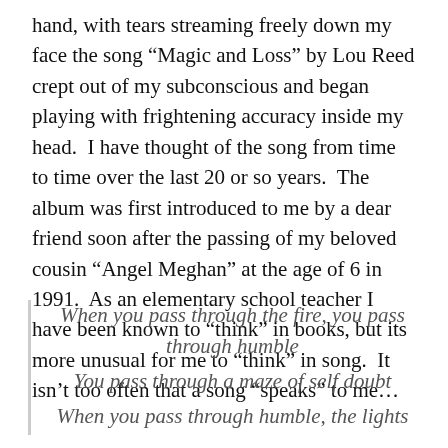hand, with tears streaming freely down my face the song “Magic and Loss” by Lou Reed crept out of my subconscious and began playing with frightening accuracy inside my head.  I have thought of the song from time to time over the last 20 or so years.  The album was first introduced to me by a dear friend soon after the passing of my beloved cousin “Angel Meghan” at the age of 6 in 1991.  As an elementary school teacher I have been known to “think” in books, but its more unusual for me to “think” in song.  It isn’t too often that a song “speaks” to me…
When you pass through the fire, you pass through humble
You pass through a maze of self doubt
When you pass through humble, the lights